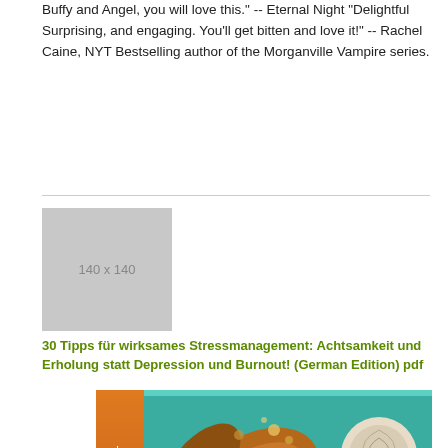Buffy and Angel, you will love this." -- Eternal Night "Delightful Surprising, and engaging. You'll get bitten and love it!" -- Rachel Caine, NYT Bestselling author of the Morganville Vampire series.
[Figure (other): Gray placeholder image showing dimensions 140 x 140]
30 Tipps für wirksames Stressmanagement: Achtsamkeit und Erholung statt Depression und Burnout! (German Edition) pdf
[Figure (photo): Book cover with teal/turquoise background showing decorative leaf and shell motifs, with an orange spine on the left showing 'WHAT' text vertically]